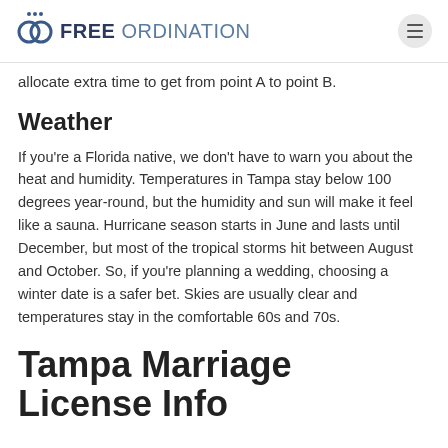FREE ORDINATION
allocate extra time to get from point A to point B.
Weather
If you're a Florida native, we don't have to warn you about the heat and humidity. Temperatures in Tampa stay below 100 degrees year-round, but the humidity and sun will make it feel like a sauna. Hurricane season starts in June and lasts until December, but most of the tropical storms hit between August and October. So, if you're planning a wedding, choosing a winter date is a safer bet. Skies are usually clear and temperatures stay in the comfortable 60s and 70s.
Tampa Marriage License Info